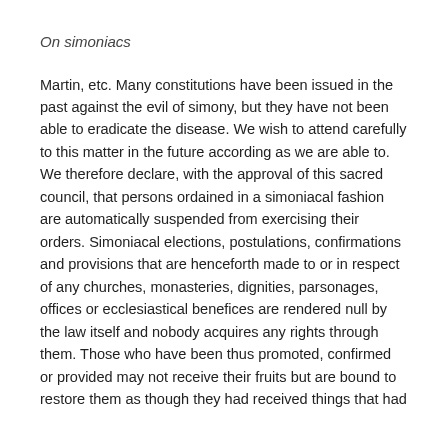On simoniacs
Martin, etc. Many constitutions have been issued in the past against the evil of simony, but they have not been able to eradicate the disease. We wish to attend carefully to this matter in the future according as we are able to. We therefore declare, with the approval of this sacred council, that persons ordained in a simoniacal fashion are automatically suspended from exercising their orders. Simoniacal elections, postulations, confirmations and provisions that are henceforth made to or in respect of any churches, monasteries, dignities, parsonages, offices or ecclesiastical benefices are rendered null by the law itself and nobody acquires any rights through them. Those who have been thus promoted, confirmed or provided may not receive their fruits but are bound to restore them as though they had received things that had